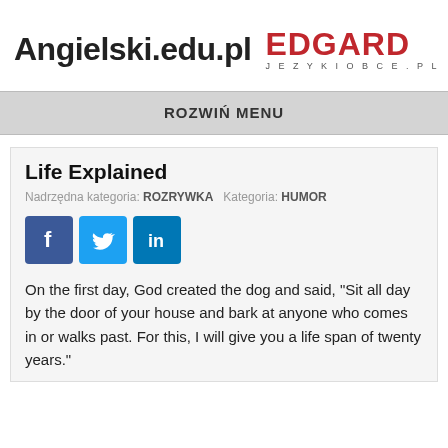Angielski.edu.pl EDGARD JEZYKIOBCE.PL
ROZWIŃ MENU
Life Explained
Nadrzędna kategoria: ROZRYWKA  Kategoria: HUMOR
[Figure (other): Social media share buttons: Facebook, Twitter, LinkedIn]
On the first day, God created the dog and said, "Sit all day by the door of your house and bark at anyone who comes in or walks past. For this, I will give you a life span of twenty years."